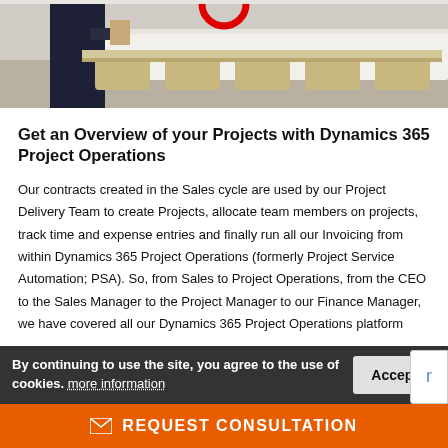[Figure (photo): Partial view of a conference room: a person in dark suit pushing a long white table, with beige chairs underneath. A red circular logo is partially visible at the top center.]
Get an Overview of your Projects with Dynamics 365 Project Operations
Our contracts created in the Sales cycle are used by our Project Delivery Team to create Projects, allocate team members on projects, track time and expense entries and finally run all our Invoicing from within Dynamics 365 Project Operations (formerly Project Service Automation; PSA). So, from Sales to Project Operations, from the CEO to the Sales Manager to the Project Manager to our Finance Manager, we have... [cookie bar overlapping] ...platform...
By continuing to use the site, you agree to the use of cookies. more information
REQUEST CONSULTATION